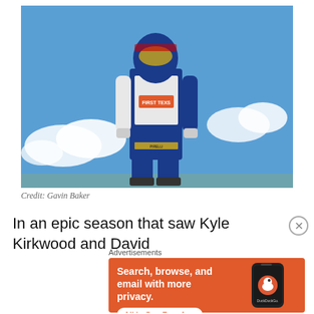[Figure (photo): Racing driver in white and blue suit with FIRST TEXN branding, wearing a blue and silver helmet, pointing one finger upward, standing against a blue sky with clouds. Low-angle shot looking up at the figure.]
Credit: Gavin Baker
In an epic season that saw Kyle Kirkwood and David
Advertisements
[Figure (screenshot): DuckDuckGo advertisement on orange background. Text reads: Search, browse, and email with more privacy. All in One Free App. Shows a phone with DuckDuckGo logo.]